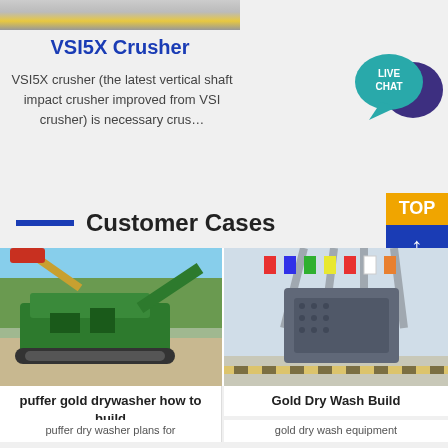[Figure (photo): Partial view of industrial machinery or conveyor equipment at the top of the page]
VSI5X Crusher
VSI5X crusher (the latest vertical shaft impact crusher improved from VSI crusher) is necessary crus…
[Figure (other): Live Chat bubble icon with teal circle and purple speech bubble overlay]
Customer Cases
[Figure (photo): Green mobile jaw crusher/screening plant on tracks at a construction or quarry site]
[Figure (photo): Large grey industrial impact crusher on display indoors with flags and steel structure in background]
puffer gold drywasher how to build
puffer dry washer plans for
Gold Dry Wash Build
gold dry wash equipment